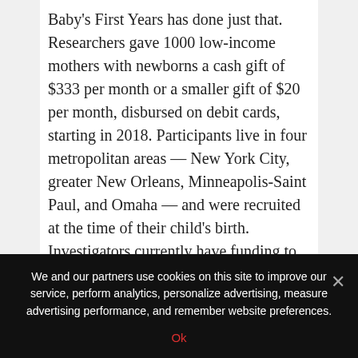Baby's First Years has done just that. Researchers gave 1000 low-income mothers with newborns a cash gift of $333 per month or a smaller gift of $20 per month, disbursed on debit cards, starting in 2018. Participants live in four metropolitan areas — New York City, greater New Orleans, Minneapolis-Saint Paul, and Omaha — and were recruited at the time of their child's birth. Investigators currently have funding to continue the cash support until the children turn 4 years old.
We and our partners use cookies on this site to improve our service, perform analytics, personalize advertising, measure advertising performance, and remember website preferences.
Ok